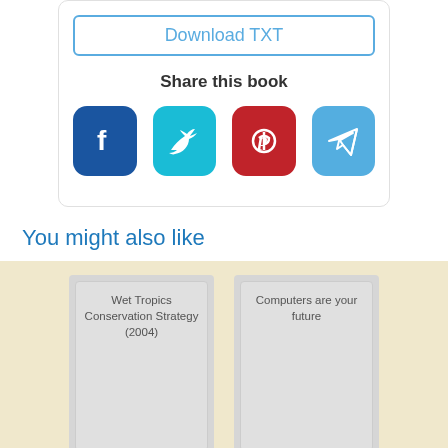Download TXT
Share this book
[Figure (infographic): Four social media share buttons: Facebook (blue), Twitter (teal), Pinterest (red), Telegram (light blue)]
You might also like
[Figure (illustration): Book cover placeholder: Wet Tropics Conservation Strategy (2004)]
[Figure (illustration): Book cover placeholder: Computers are your future]